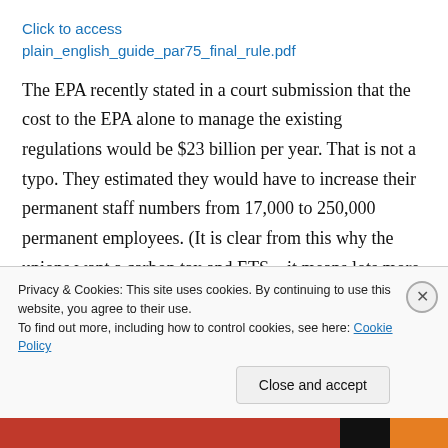Click to access
plain_english_guide_par75_final_rule.pdf
The EPA recently stated in a court submission that the cost to the EPA alone to manage the existing regulations would be $23 billion per year. That is not a typo. They estimated they would have to increase their permanent staff numbers from 17,000 to 250,000 permanent employees. (It is clear from this why the unions want a carbon tax and ETS – it means lots more
Privacy & Cookies: This site uses cookies. By continuing to use this website, you agree to their use.
To find out more, including how to control cookies, see here: Cookie Policy
Close and accept